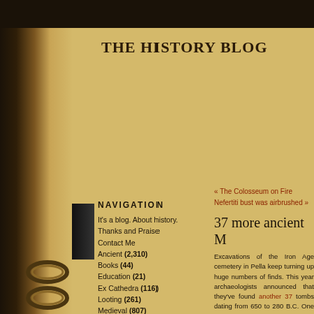THE HISTORY BLOG
NAVIGATION
It's a blog. About history.
Thanks and Praise
Contact Me
Ancient (2,310)
Books (44)
Education (21)
Ex Cathedra (116)
Looting (261)
Medieval (807)
Modern(ish) (2,367)
Multimedia (342)
« The Colosseum on Fire
Nefertiti bust was airbrushed »
37 more ancient M
Excavations of the Iron Age cemetery in Pella keep turning up huge numbers of finds. This year archaeologists announced that they've found another 37 tombs dating from 650 to 280 B.C. One of the tombs was the final resting place of a warrior from the 4th century B.C. and it held a ...